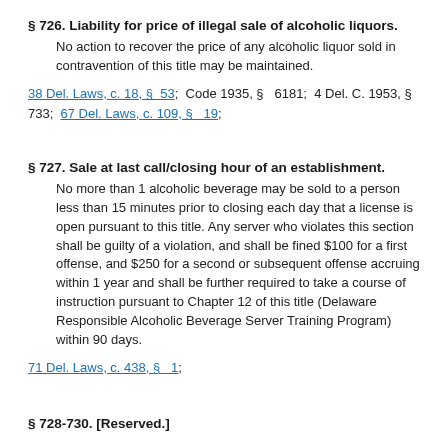§ 726. Liability for price of illegal sale of alcoholic liquors.
No action to recover the price of any alcoholic liquor sold in contravention of this title may be maintained.
38 Del. Laws, c. 18, §  53;  Code 1935, §   6181;  4 Del. C. 1953, § 733;  67 Del. Laws, c. 109, §   19;
§ 727. Sale at last call/closing hour of an establishment.
No more than 1 alcoholic beverage may be sold to a person less than 15 minutes prior to closing each day that a license is open pursuant to this title. Any server who violates this section shall be guilty of a violation, and shall be fined $100 for a first offense, and $250 for a second or subsequent offense accruing within 1 year and shall be further required to take a course of instruction pursuant to Chapter 12 of this title (Delaware Responsible Alcoholic Beverage Server Training Program) within 90 days.
71 Del. Laws, c. 438, §   1;
§ 728-730. [Reserved.]